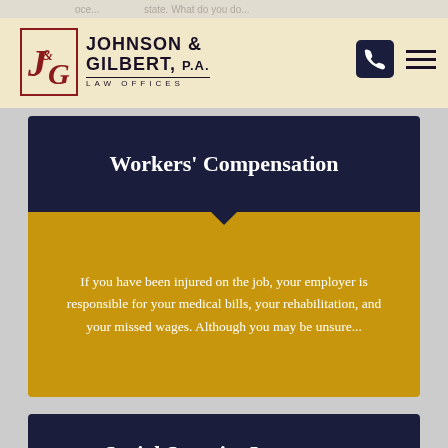[Figure (logo): Johnson & Gilbert P.A. Law Offices logo with J&G monogram in red serif font]
oce... state. What do you do...
Workers' Compensation
If you have been injured on the job, your employer is responsible for your medical bills, your rehabilitation, and your missed wages. Although you may be unsure...
Social Security Insurance
Filing for Social Security Disability Insurance (SSD)...